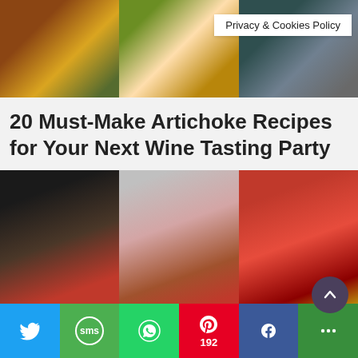[Figure (photo): Three food images side by side: artichoke dip with bread, artichoke dish on plate, dark vegetable dish]
Privacy & Cookies Policy
20 Must-Make Artichoke Recipes for Your Next Wine Tasting Party
[Figure (photo): Three food images side by side: jar of red jelly with apple and grapes, heart-shaped toast with jam on pink plate, tomato jam in jar with tomatoes]
The Most Delicious Jelly Recipes For Your Cheese Board
[Figure (infographic): Social sharing bar with Twitter, SMS, WhatsApp, Pinterest (192), Facebook, and More buttons]